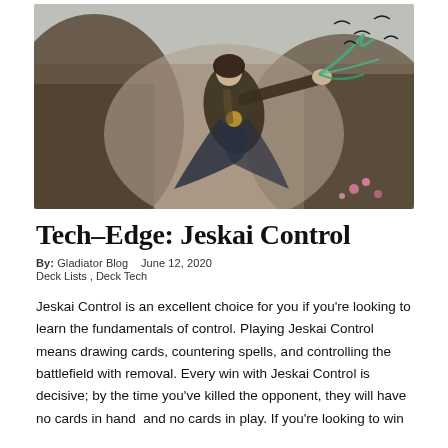[Figure (illustration): Fantasy illustration of a robed figure leaping or reaching out with an outstretched arm, surrounded by birds or creatures, against a rocky cliff background with pink flowers.]
Tech–Edge: Jeskai Control
By:  Gladiator Blog   June 12, 2020
 Deck Lists ,  Deck Tech
Jeskai Control is an excellent choice for you if you're looking to learn the fundamentals of control. Playing Jeskai Control means drawing cards, countering spells, and controlling the battlefield with removal. Every win with Jeskai Control is decisive; by the time you've killed the opponent, they will have no cards in hand  and no cards in play. If you're looking to win